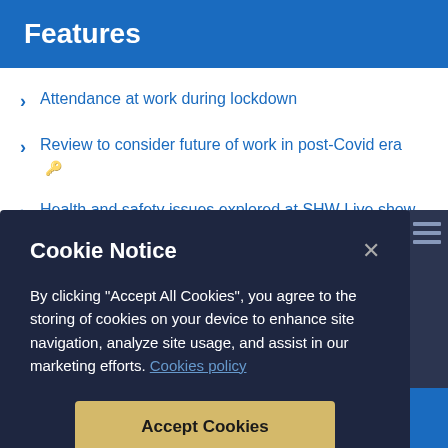Features
Attendance at work during lockdown
Review to consider future of work in post-Covid era 🔑
Health and safety issues explored at SHW Live show, Manchester 🔑
[Figure (screenshot): Cookie Notice modal dialog with dark navy background showing title 'Cookie Notice', descriptive text about cookies, an 'Accept Cookies' button in gold/yellow, and a 'Cookies Settings' link.]